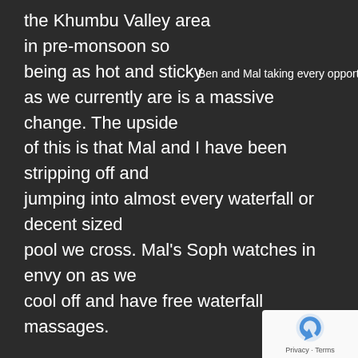the Khumbu Valley area in pre-monsoon so being as hot and sticky as we currently are is a massive change. The upside of this is that Mal and I have been stripping off and jumping into almost every waterfall or decent sized pool we cross. Mal's Soph watches in envy on as we cool off and have free waterfall massages.
Ben and Mal taking every opportunity!
Last night's camp was at a small village called Soti Cola. We arrived mid afternoon after a short four hour trek and set about spending the afternoon lounging under a small shelter reading books, Soduko-ing or in my case staring down the valley and being thoroughly stoked to be in such a beautiful area.The night brought with it rain, rain and more rain. So much rain fell that